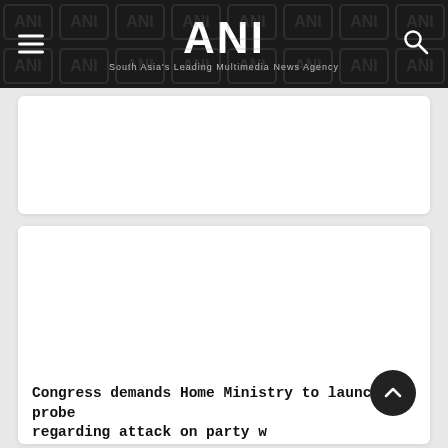ANI
South Asia's Leading Multimedia News Agency
[Figure (screenshot): White empty advertisement card area]
[Figure (screenshot): White empty image/advertisement area above article]
Congress demands Home Ministry to launch probe regarding attack on party w
Updated :  2 Months, 1 week ago IST
New Delhi [India], June 26 (ANI): Congress on Sunday